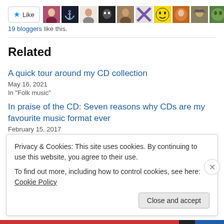[Figure (screenshot): Like button with star icon and row of blogger avatar thumbnails]
19 bloggers like this.
Related
A quick tour around my CD collection
May 16, 2021
In "Folk music"
In praise of the CD: Seven reasons why CDs are my favourite music format ever
February 15, 2017
In "Music, culture & history"
Privacy & Cookies: This site uses cookies. By continuing to use this website, you agree to their use.
To find out more, including how to control cookies, see here: Cookie Policy
Close and accept